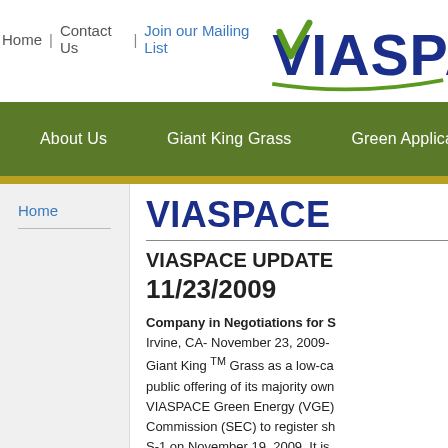Home | Contact Us | Join our Mailing List
[Figure (logo): VIASPACE logo with green V and swoosh]
About Us | Giant King Grass | Green Applications | A...
Home
VIASPACE
VIASPACE UPDATE
11/23/2009
Company in Negotiations for S... Irvine, CA- November 23, 2009- Giant King TM Grass as a low-ca... public offering of its majority own... VIASPACE Green Energy (VGE)... Commission (SEC) to register sh... S-1 on November 19, 2009. It is... VIASPACE Green Energy. VIASPACE CEO Dr. Carl Kukko...